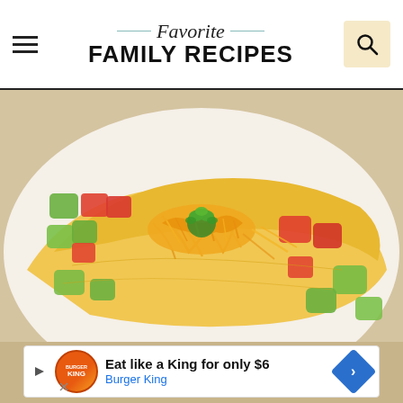Favorite FAMILY RECIPES
[Figure (photo): Close-up of a cheese omelette topped with shredded cheddar cheese, diced tomatoes, avocado chunks, and a sprig of fresh parsley, served on a white plate]
Eat like a King for only $6 Burger King